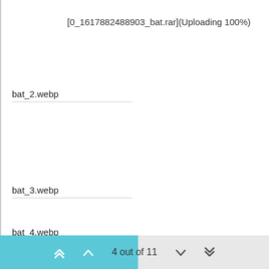[0_1617882488903_bat.rar](Uploading 100%)
bat_2.webp
bat_3.webp
bat_4.webp
4 out of 11